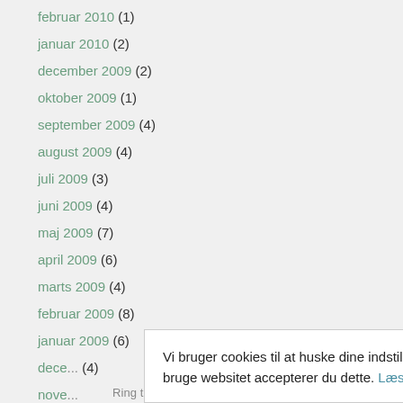februar 2010 (1)
januar 2010 (2)
december 2009 (2)
oktober 2009 (1)
september 2009 (4)
august 2009 (4)
juli 2009 (3)
juni 2009 (4)
maj 2009 (7)
april 2009 (6)
marts 2009 (4)
februar 2009 (8)
januar 2009 (6)
dece... (4)
nove...
Vi bruger cookies til at huske dine indstillinger, statistik og personalisering af indhold. Ved at bruge websitet accepterer du dette. Læs mere her.
Ring til mig på telefon: 2 29 17 04